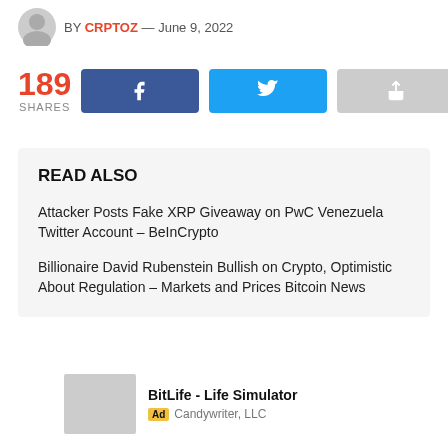BY CRPTOZ — June 9, 2022
189 SHARES
[Figure (infographic): Social share buttons: Facebook, Twitter, and generic share, with 189 shares count]
READ ALSO
Attacker Posts Fake XRP Giveaway on PwC Venezuela Twitter Account – BeInCrypto
Billionaire David Rubenstein Bullish on Crypto, Optimistic About Regulation – Markets and Prices Bitcoin News
BitLife - Life Simulator
Ad Candywriter, LLC